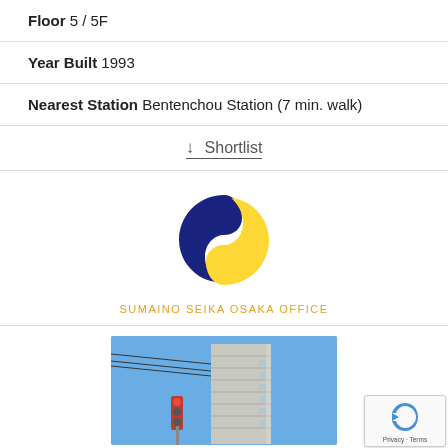Floor 5 / 5F
Year Built 1993
Nearest Station Bentenchou Station (7 min. walk)
↓ Shortlist
[Figure (logo): Sumaino Seika Osaka Office logo - circular S-shape in dark blue and yellow, with text SUMAINO SEIKA OSAKA OFFICE in orange below]
[Figure (photo): Photo of a multi-story apartment or office building shot from below against a blue sky, with power lines and a traffic signal visible]